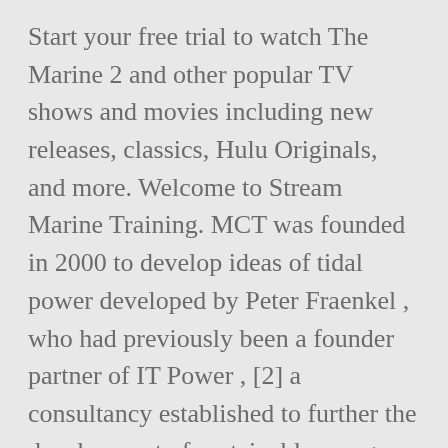Start your free trial to watch The Marine 2 and other popular TV shows and movies including new releases, classics, Hulu Originals, and more. Welcome to Stream Marine Training. MCT was founded in 2000 to develop ideas of tidal power developed by Peter Fraenkel , who had previously been a founder partner of IT Power , [2] a consultancy established to further the development of sustainable energy technologies. Find locations of ports and ships using the near Real Time ships map. Creating the right climate when it matters most MARINE AIR CONDITIONING 1 Introduction; 2 Sampling tools for pelagic organisms. Authentication or subscription with a TV, ISP or streaming